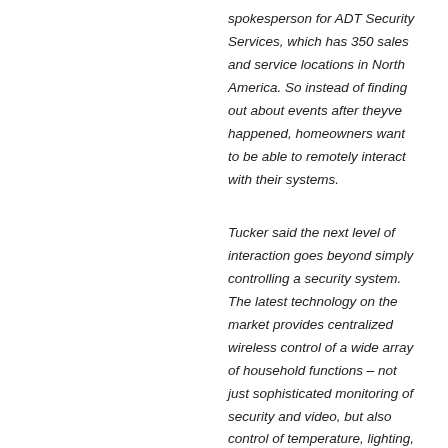spokesperson for ADT Security Services, which has 350 sales and service locations in North America. So instead of finding out about events after theyve happened, homeowners want to be able to remotely interact with their systems.
Tucker said the next level of interaction goes beyond simply controlling a security system. The latest technology on the market provides centralized wireless control of a wide array of household functions – not just sophisticated monitoring of security and video, but also control of temperature, lighting, appliances and entertainment components. Recurring events can be automated, such as timing for lights or appliances, and alerts can be provided for any crisis events inside the home, including